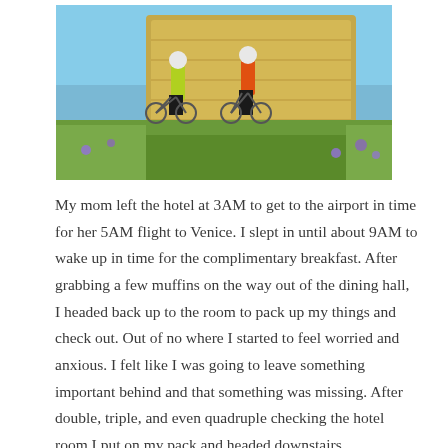[Figure (photo): Two cyclists in helmets and cycling gear standing in front of a large hay bale in a green field with wildflowers and blue sky.]
My mom left the hotel at 3AM to get to the airport in time for her 5AM flight to Venice. I slept in until about 9AM to wake up in time for the complimentary breakfast. After grabbing a few muffins on the way out of the dining hall, I headed back up to the room to pack up my things and check out. Out of no where I started to feel worried and anxious. I felt like I was going to leave something important behind and that something was missing. After double, triple, and even quadruple checking the hotel room I put on my pack and headed downstairs.